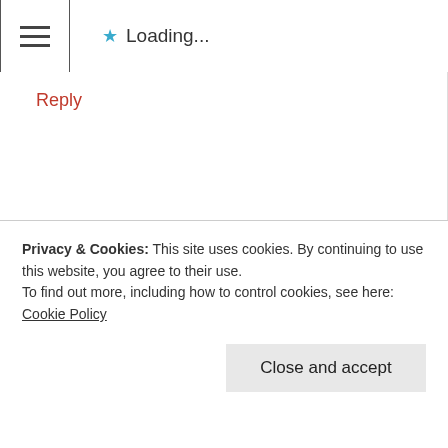Loading...
Reply
nikitalondon says:
May 1, 2016 at 20:07
Labels can do alot of harm and put people in boxes where they risk of not being able to come out anymore.
Privacy & Cookies: This site uses cookies. By continuing to use this website, you agree to their use.
To find out more, including how to control cookies, see here: Cookie Policy
Close and accept